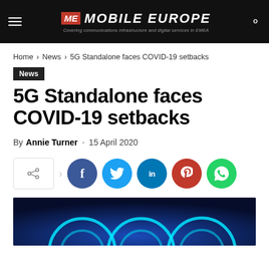ME MOBILE EUROPE — Covering communications infrastructure and digital services in EMEA
Home › News › 5G Standalone faces COVID-19 setbacks
News
5G Standalone faces COVID-19 setbacks
By Annie Turner – 15 April 2020
[Figure (other): Social share buttons row: share icon box, arrow, Facebook, Twitter, LinkedIn, Pinterest, WhatsApp]
[Figure (photo): Hero image with dark blue gradient background and glowing cyan arc shapes at the bottom]